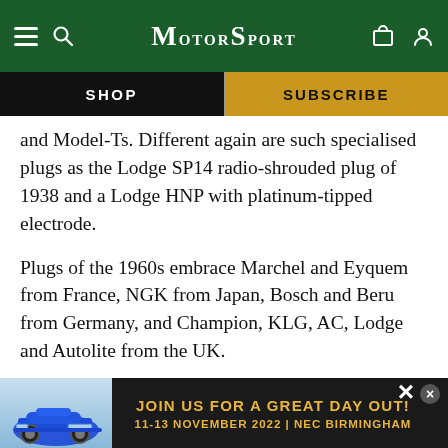MotorSport
SHOP | SUBSCRIBE
and Model-Ts. Different again are such specialised plugs as the Lodge SP14 radio-shrouded plug of 1938 and a Lodge HNP with platinum-tipped electrode.
Plugs of the 1960s embrace Marchel and Eyquem from France, NGK from Japan, Bosch and Beru from Germany, and Champion, KLG, AC, Lodge and Autolite from the UK.
A fascinating array! From it the development of the sparking plug emerges. Single piece plugs, impo... 1920...
[Figure (screenshot): Advertisement banner: JOIN US FOR A GREAT DAY OUT! 11-13 NOVEMBER 2022 | NEC BIRMINGHAM, with a blue Porsche 911 image on the left side.]